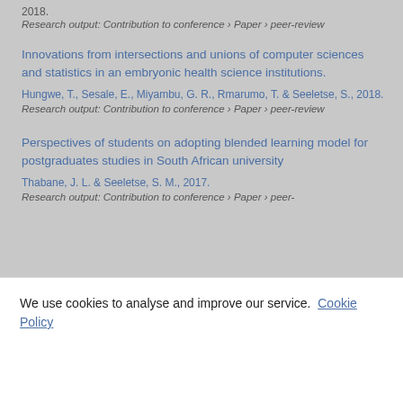2018.
Research output: Contribution to conference › Paper › peer-review
Innovations from intersections and unions of computer sciences and statistics in an embryonic health science institutions.
Hungwe, T., Sesale, E., Miyambu, G. R., Rmarumo, T. & Seeletse, S., 2018.
Research output: Contribution to conference › Paper › peer-review
Perspectives of students on adopting blended learning model for postgraduates studies in South African university
Thabane, J. L. & Seeletse, S. M., 2017.
Research output: Contribution to conference › Paper › peer-review
We use cookies to analyse and improve our service. Cookie Policy